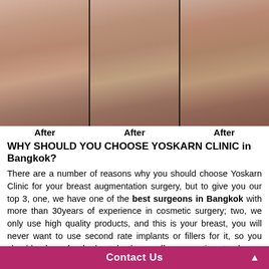[Figure (photo): Three after photos of breast augmentation results shown side by side against a dark background]
After   After   After
WHY SHOULD YOU CHOOSE YOSKARN CLINIC in Bangkok?
There are a number of reasons why you should choose Yoskarn Clinic for your breast augmentation surgery, but to give you our top 3, one, we have one of the best surgeons in Bangkok with more than 30years of experience in cosmetic surgery; two, we only use high quality products, and this is your breast, you will never want to use second rate implants or fillers for it, so you should only go for the best; lastly, we offer you options to choose from, we will not tell you this one is the best because this is the only one that we have, we will present the good and bad sides of having each of your option then you can decide for yourself with Prof. Somuos Kunachak's guidance.
Aside from
[Figure (other): Contact Us button bar in magenta/pink color at the bottom of the page]